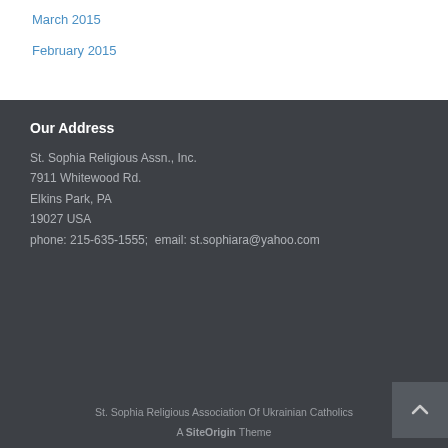March 2015
February 2015
Our Address
St. Sophia Religious Assn., Inc.
7911 Whitewood Rd.
Elkins Park, PA
19027 USA
phone: 215-635-1555;  email: st.sophiara@yahoo.com
St. Sophia Religious Association Of Ukrainian Catholics
A SiteOrigin Theme